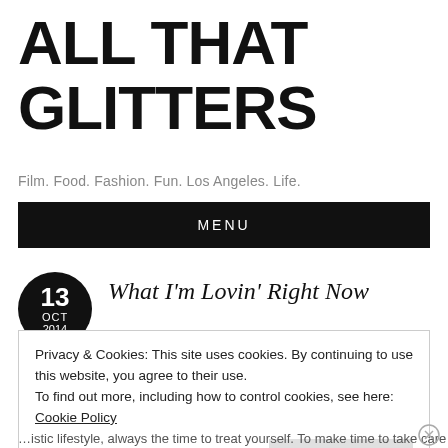ALL THAT GLITTERS
Film. Food. Fashion. Fun. Los Angeles. Life.
MENU
13 OCT 2014
What I'm Lovin' Right Now
Privacy & Cookies: This site uses cookies. By continuing to use this website, you agree to their use.
To find out more, including how to control cookies, see here: Cookie Policy
Close and accept